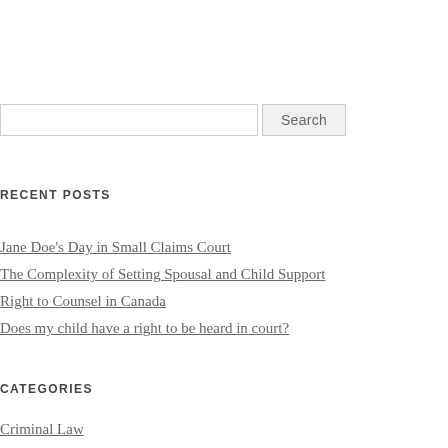[search input]
RECENT POSTS
Jane Doe's Day in Small Claims Court
The Complexity of Setting Spousal and Child Support
Right to Counsel in Canada
Does my child have a right to be heard in court?
CATEGORIES
Criminal Law